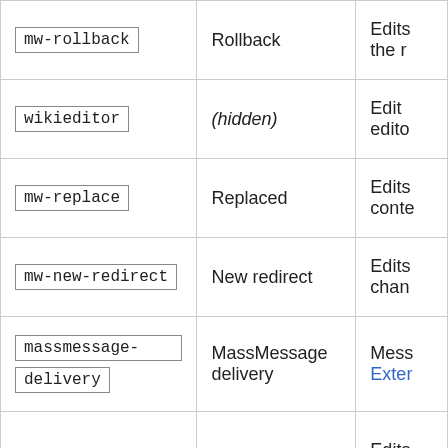| Tag | Label | Description |
| --- | --- | --- |
| mw-rollback | Rollback | Edits the r… |
| wikieditor | (hidden) | Edit edito… |
| mw-replace | Replaced | Edits conte… |
| mw-new-redirect | New redirect | Edits chan… |
| massmessage-delivery | MassMessage delivery | Mess Exter… |
|  |  | Edits… |